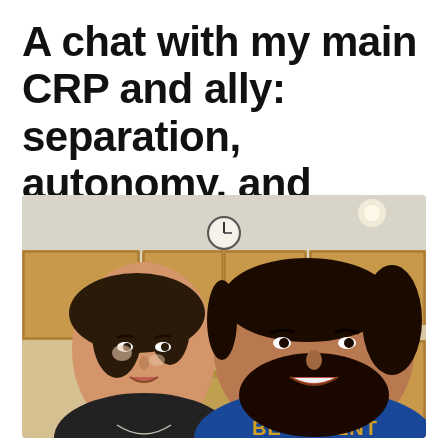A chat with my main CRP and ally: separation, autonomy, and opportunity
[Figure (photo): A woman with short dark hair wearing a black tank top and a necklace, and a man with dark beard wearing a blue t-shirt that says 'BE PATIENT', both appearing to be mid-conversation in a kitchen setting with wooden cabinets and a clock on the wall in the background.]